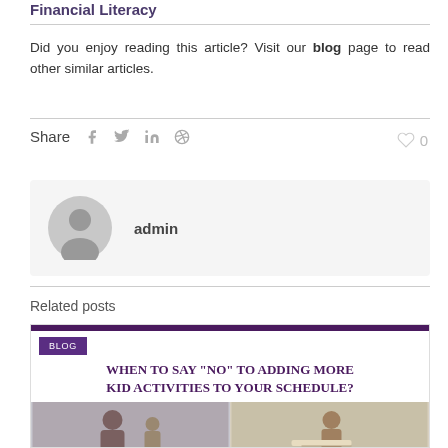Financial Literacy
Did you enjoy reading this article? Visit our blog page to read other similar articles.
Share  f  in  P  0
[Figure (other): Author avatar circle with admin label]
Related posts
[Figure (other): Related blog post card: WHEN TO SAY "NO" TO ADDING MORE KID ACTIVITIES TO YOUR SCHEDULE? with BLOG tag and photo strip]